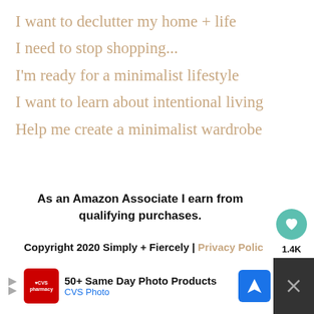I want to declutter my home + life
I need to stop shopping...
I'm ready for a minimalist lifestyle
I want to learn about intentional living
Help me create a minimalist wardrobe
As an Amazon Associate I earn from qualifying purchases.
Copyright 2020 Simply + Fiercely | Privacy Policy
Exclusive Member of Mediavine Food
[Figure (screenshot): Advertisement bar at bottom showing CVS Pharmacy ad for 50+ Same Day Photo Products with CVS Photo branding and navigation arrow icon]